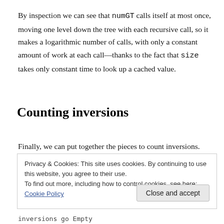By inspection we can see that numGT calls itself at most once, moving one level down the tree with each recursive call, so it makes a logarithmic number of calls, with only a constant amount of work at each call—thanks to the fact that size takes only constant time to look up a cached value.
Counting inversions
Finally, we can put together the pieces to count inversions.
Privacy & Cookies: This site uses cookies. By continuing to use this website, you agree to their use.
To find out more, including how to control cookies, see here: Cookie Policy
Close and accept
inversions go Empty